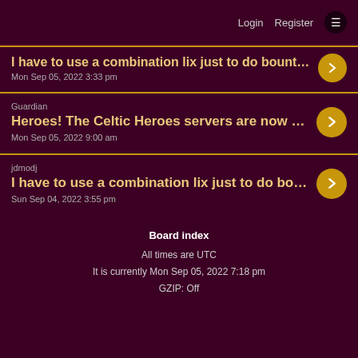Login  Register  ☰
I have to use a combination lix just to do bountys d…
Mon Sep 05, 2022 3:33 pm
Guardian
Heroes! The Celtic Heroes servers are now open. T…
Mon Sep 05, 2022 9:00 am
jdmodj
I have to use a combination lix just to do bountys d…
Sun Sep 04, 2022 3:55 pm
Board index
All times are UTC
It is currently Mon Sep 05, 2022 7:18 pm
GZIP: Off